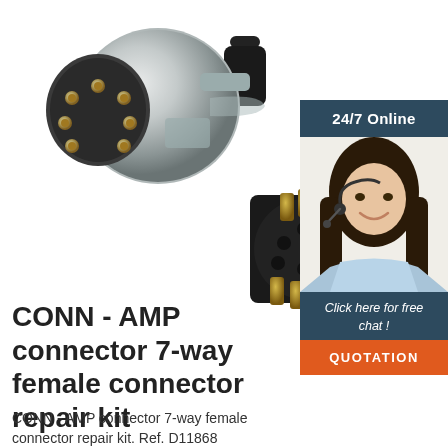[Figure (photo): CONN - AMP 7-way male connector (silver cylindrical plug with 7 gold pins) and a small black female connector insert component, shown on white background]
[Figure (illustration): Chat sidebar with dark blue header reading '24/7 Online', photo of smiling woman with headset, dark blue footer 'Click here for free chat !', and orange button 'QUOTATION']
CONN - AMP connector 7-way female connector repair kit
CONN - AMP connector 7-way female connector repair kit. Ref. D11868